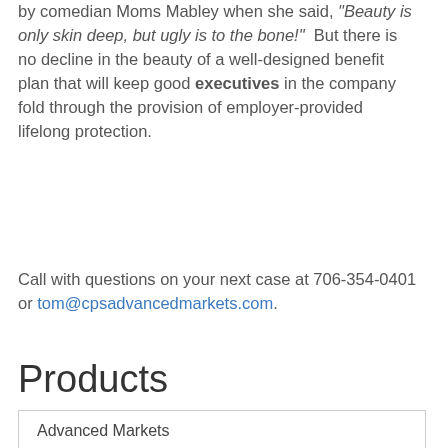by comedian Moms Mabley when she said, "Beauty is only skin deep, but ugly is to the bone!" But there is no decline in the beauty of a well-designed benefit plan that will keep good executives in the company fold through the provision of employer-provided lifelong protection.
Call with questions on your next case at 706-354-0401 or tom@cpsadvancedmarkets.com.
Products
Advanced Markets
Annuities
CPS Express
Critical Illness